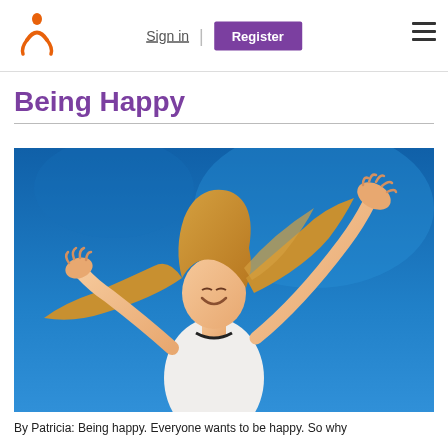Sign in | Register
Being Happy
[Figure (photo): A joyful blonde woman with arms spread wide open against a bright blue sky, wearing a white sleeveless top, hair blowing in the wind, smiling with eyes closed.]
By Patricia: Being happy. Everyone wants to be happy. So why